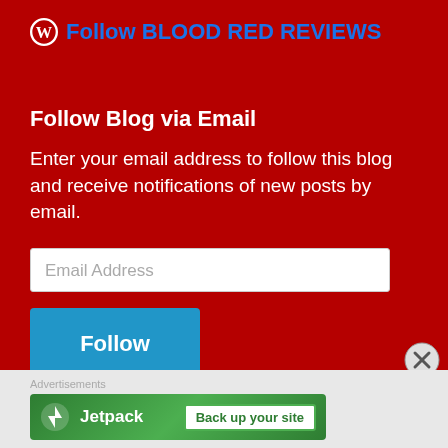Follow BLOOD RED REVIEWS
Follow Blog via Email
Enter your email address to follow this blog and receive notifications of new posts by email.
Email Address
Follow
Join 1,773 other followers
[Figure (logo): Jetpack advertisement banner with green background, Jetpack logo, and 'Back up your site' button]